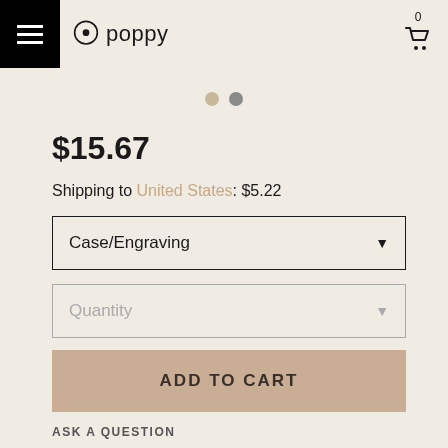[Figure (logo): Poppy brand logo with circular icon and wordmark 'poppy']
[Figure (illustration): Two navigation dots: one tan/beige and one gray, indicating image carousel position]
$15.67
Shipping to United States: $5.22
Case/Engraving (dropdown selector)
Quantity (dropdown selector)
ADD TO CART
ASK A QUESTION